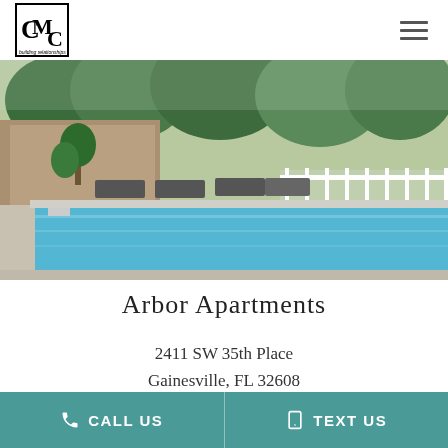[Figure (logo): CMC building relationships logo — square logo with letters CMC inside a black bordered box, with 'building relationships' tagline below]
[Figure (photo): Outdoor swimming pool area at apartment complex with white fence, lounge chairs, trees and building in background]
Arbor Apartments
2411 SW 35th Place
Gainesville, FL 32608
CALL US  |  TEXT US